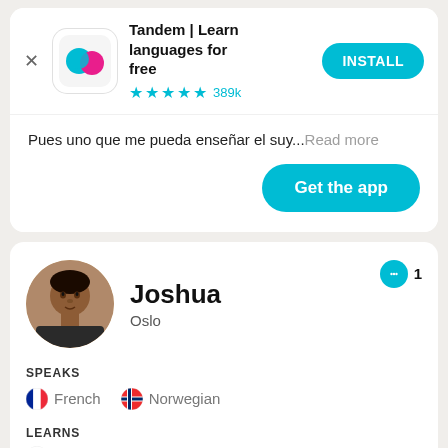[Figure (screenshot): Tandem app advertisement banner with app icon (teal and pink speech bubbles), app name, star rating, and INSTALL button]
Tandem | Learn languages for free
★★★★½ 389k
Pues uno que me pueda enseñar el suy...Read more
Get the app
Joshua
Oslo
1
SPEAKS
French   Norwegian
LEARNS
Korean